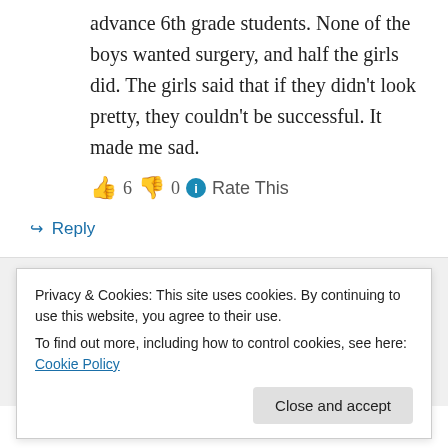advance 6th grade students. None of the boys wanted surgery, and half the girls did. The girls said that if they didn't look pretty, they couldn't be successful. It made me sad.
👍 6 👎 0 ℹ Rate This
↪ Reply
Deva on July 9, 2012 at 8:36 pm
Privacy & Cookies: This site uses cookies. By continuing to use this website, you agree to their use.
To find out more, including how to control cookies, see here: Cookie Policy
Close and accept
surgery in middle school, which would